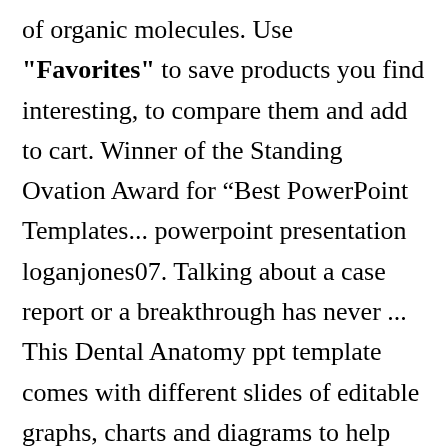of organic molecules. Use "Favorites" to save products you find interesting, to compare them and add to cart. Winner of the Standing Ovation Award for “Best PowerPoint Templates... powerpoint presentation loganjones07. Talking about a case report or a breakthrough has never ... This Dental Anatomy ppt template comes with different slides of editable graphs, charts and diagrams to help you in making powerful presentation. Anatomy of the Human Body PowerPoint Template. We have also added other medical icons, together with pictures of pills, a model of a brain or a middle-aged woman. The downloaded templates ... Our anatomy